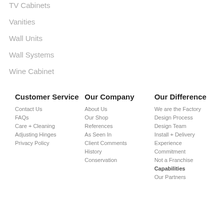TV Cabinets
Vanities
Wall Units
Wall Systems
Wine Cabinet
Customer Service
Contact Us
FAQs
Care + Cleaning
Adjusting Hinges
Privacy Policy
Our Company
About Us
Our Shop
References
As Seen In
Client Comments
History
Conservation
Our Difference
We are the Factory
Design Process
Design Team
Install + Delivery
Experience
Commitment
Not a Franchise
Capabilities
Our Partners